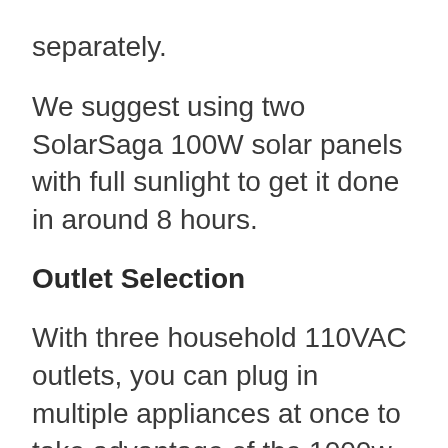separately.
We suggest using two SolarSaga 100W solar panels with full sunlight to get it done in around 8 hours.
Outlet Selection
With three household 110VAC outlets, you can plug in multiple appliances at once to take advantage of the 1000w.
You will also get two USB-C outlets, two quick charge 3.0 USB outlets, and